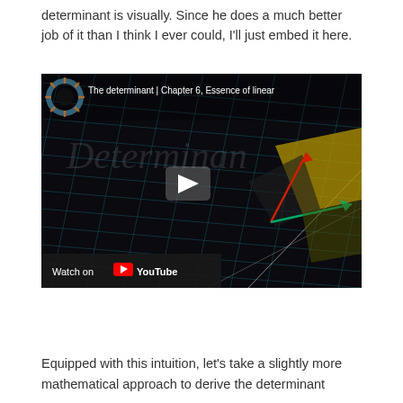determinant is visually. Since he does a much better job of it than I think I ever could, I'll just embed it here.
[Figure (screenshot): Embedded YouTube video thumbnail: 'The determinant | Chapter 6, Essence of linear...' showing a dark mathematical visualization with grid lines, geometric shapes (yellow parallelogram, red and green vectors), and a play button. Shows 'Watch on YouTube' bar at bottom.]
Equipped with this intuition, let's take a slightly more mathematical approach to derive the determinant